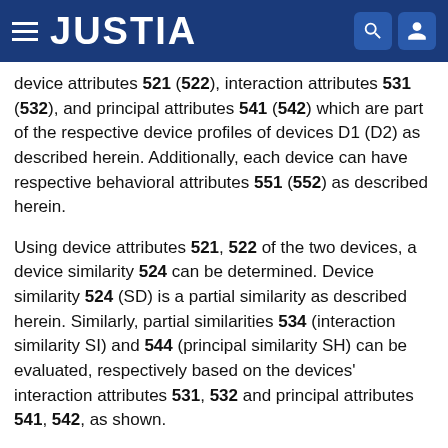JUSTIA
device attributes 521 (522), interaction attributes 531 (532), and principal attributes 541 (542) which are part of the respective device profiles of devices D1 (D2) as described herein. Additionally, each device can have respective behavioral attributes 551 (552) as described herein.
Using device attributes 521, 522 of the two devices, a device similarity 524 can be determined. Device similarity 524 (SD) is a partial similarity as described herein. Similarly, partial similarities 534 (interaction similarity SI) and 544 (principal similarity SH) can be evaluated, respectively based on the devices' interaction attributes 531, 532 and principal attributes 541, 542, as shown.
The partial similarities 524, 534, 544 can be combined to